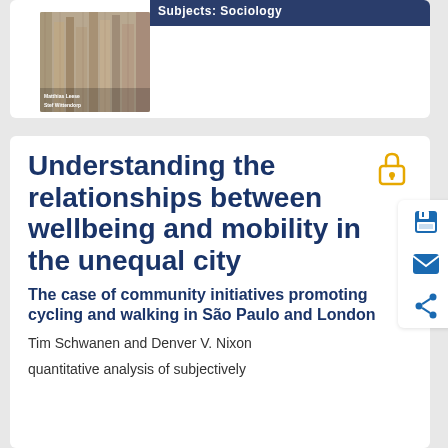[Figure (screenshot): Book cover thumbnail with dark blue header bar showing 'Subjects: Sociology' and a textured book cover image with author names Matthias Leese and Stef Wittendorp]
Understanding the relationships between wellbeing and mobility in the unequal city
The case of community initiatives promoting cycling and walking in São Paulo and London
Tim Schwanen and Denver V. Nixon
quantitative analysis of subjectively